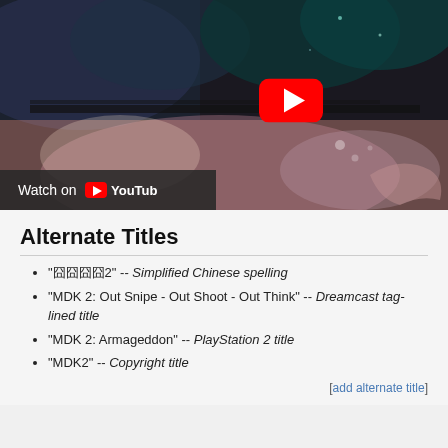[Figure (screenshot): YouTube video thumbnail showing a dark gaming scene with a YouTube play button overlay and a 'Watch on YouTube' bar at the bottom left.]
Alternate Titles
"囧囧囧囧2" -- Simplified Chinese spelling
"MDK 2: Out Snipe - Out Shoot - Out Think" -- Dreamcast tag-lined title
"MDK 2: Armageddon" -- PlayStation 2 title
"MDK2" -- Copyright title
[add alternate title]